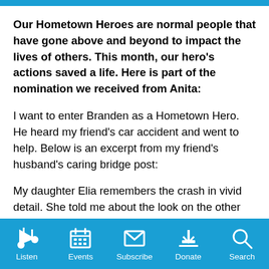Our Hometown Heroes are normal people that have gone above and beyond to impact the lives of others. This month, our hero's actions saved a life. Here is part of the nomination we received from Anita:
I want to enter Branden as a Hometown Hero. He heard my friend's car accident and went to help. Below is an excerpt from my friend's husband's caring bridge post:
My daughter Elia remembers the crash in vivid detail. She told me about the look on the other drivers face, how many little trees they drove through heading
Listen  Events  Subscribe  Donate  Search